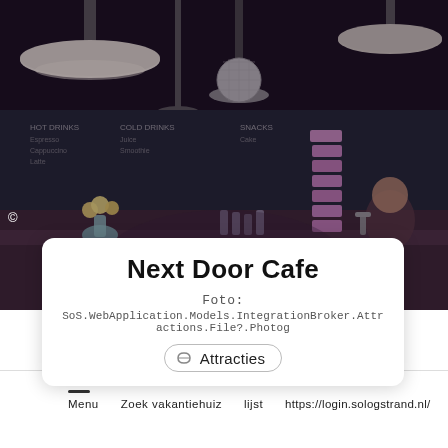[Figure (photo): Interior of Next Door Cafe showing pendant lamps, disco ball, stacked purple cups, chalkboard menus, flowers, and glassware on the bar]
Next Door Cafe
Foto:
SoS.WebApplication.Models.IntegrationBroker.Attractions.File?.Photog…
Attracties
Menu   Zoek vakantiehuiz   lijst   https://login.sologstrand.nl/